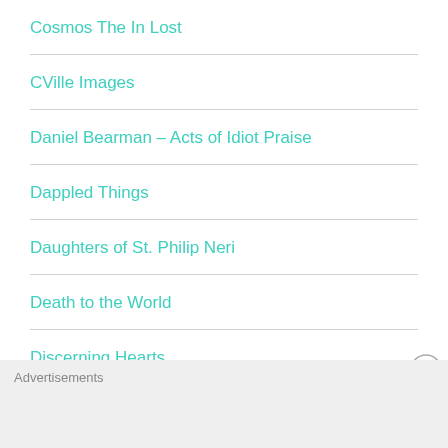Cosmos The In Lost
CVille Images
Daniel Bearman – Acts of Idiot Praise
Dappled Things
Daughters of St. Philip Neri
Death to the World
Discerning Hearts
Advertisements